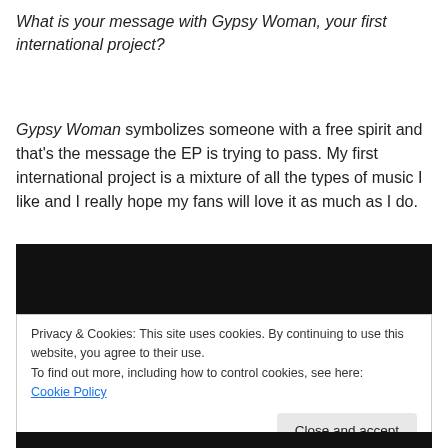What is your message with Gypsy Woman, your first international project?
Gypsy Woman symbolizes someone with a free spirit and that's the message the EP is trying to pass. My first international project is a mixture of all the types of music I like and I really hope my fans will love it as much as I do.
[Figure (other): Black video/media embed area]
Privacy & Cookies: This site uses cookies. By continuing to use this website, you agree to their use.
To find out more, including how to control cookies, see here:
Cookie Policy
Close and accept